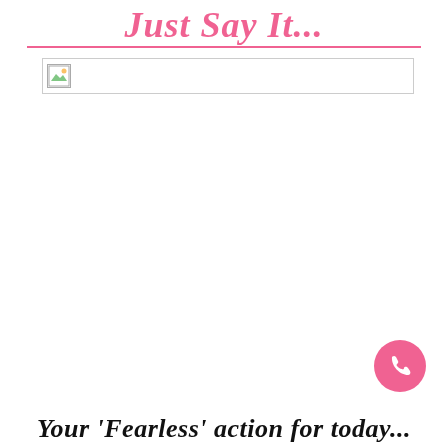Just Say It...
[Figure (photo): Placeholder image box with broken image icon in top-left corner]
[Figure (other): Pink circular phone/call button icon in bottom-right]
Your 'Fearless' action for today...